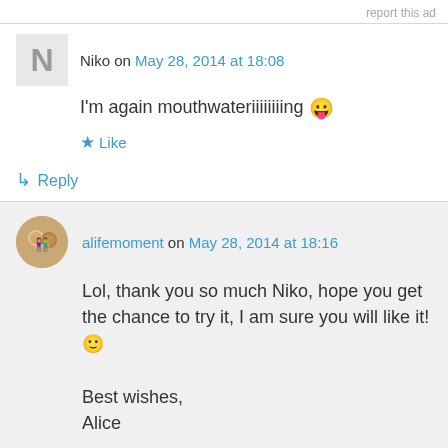report this ad
Niko on May 28, 2014 at 18:08
I'm again mouthwateriiiiiiiing 😛
★ Like
↳ Reply
alifemoment on May 28, 2014 at 18:16
Lol, thank you so much Niko, hope you get the chance to try it, I am sure you will like it! 🙂
Best wishes,
Alice
★ Like